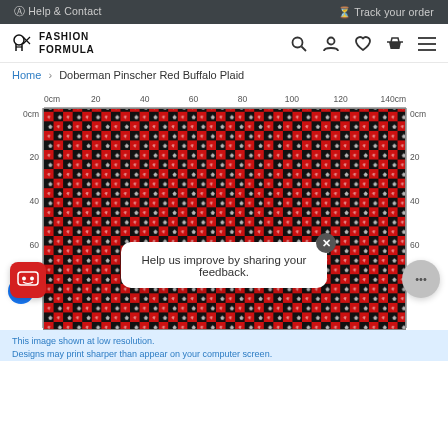Help & Contact   Track your order
[Figure (logo): Fashion Formula logo with scissors icon]
Home > Doberman Pinscher Red Buffalo Plaid
[Figure (photo): Red buffalo plaid fabric pattern with doberman pinscher silhouettes, shown on a measurement ruler grid (0-140cm horizontal, 0-80cm vertical)]
Help us improve by sharing your feedback.
This [image shown at] low resolution. Designs may print sharper than appear on your computer screen.